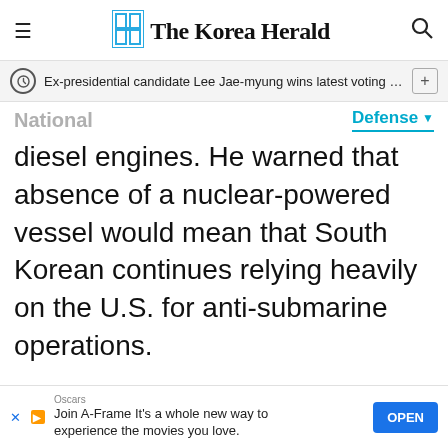The Korea Herald
Ex-presidential candidate Lee Jae-myung wins latest voting in D···
National   Defense
diesel engines. He warned that absence of a nuclear-powered vessel would mean that South Korean continues relying heavily on the U.S. for anti-submarine operations.
By Yoon Min-sik
(minsikyoon@heraldcorp.com)
Oscars
Join A-Frame It's a whole new way to experience the movies you love.